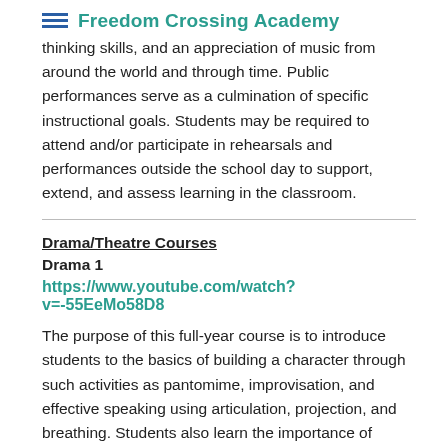Freedom Crossing Academy
thinking skills, and an appreciation of music from around the world and through time. Public performances serve as a culmination of specific instructional goals. Students may be required to attend and/or participate in rehearsals and performances outside the school day to support, extend, and assess learning in the classroom.
Drama/Theatre Courses
Drama 1
https://www.youtube.com/watch?v=-55EeMo58D8
The purpose of this full-year course is to introduce students to the basics of building a character through such activities as pantomime, improvisation, and effective speaking using articulation, projection, and breathing. Students also learn the importance of technical theatre and explore the use of such elements as costumes, props, and scenery. Students